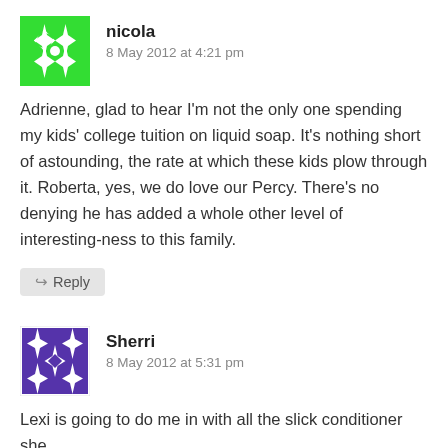[Figure (illustration): Green geometric avatar icon for user nicola]
nicola
8 May 2012 at 4:21 pm
Adrienne, glad to hear I’m not the only one spending my kids’ college tuition on liquid soap. It’s nothing short of astounding, the rate at which these kids plow through it. Roberta, yes, we do love our Percy. There’s no denying he has added a whole other level of interesting-ness to this family.
↪ Reply
[Figure (illustration): Purple geometric avatar icon for user Sherri]
Sherri
8 May 2012 at 5:31 pm
Lexi is going to do me in with all the slick conditioner she